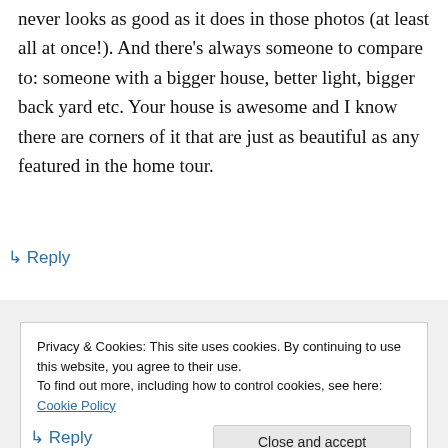never looks as good as it does in those photos (at least all at once!). And there's always someone to compare to: someone with a bigger house, better light, bigger back yard etc. Your house is awesome and I know there are corners of it that are just as beautiful as any featured in the home tour.
↳ Reply
Privacy & Cookies: This site uses cookies. By continuing to use this website, you agree to their use.
To find out more, including how to control cookies, see here: Cookie Policy
Close and accept
↳ Reply